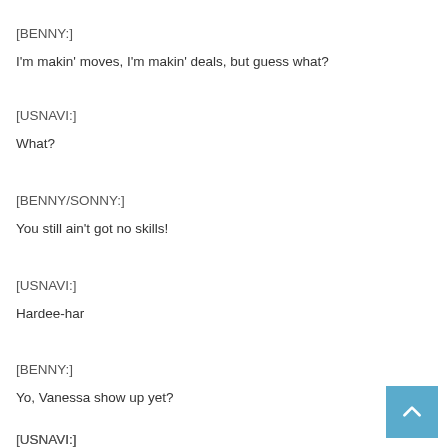[BENNY:]
I'm makin' moves, I'm makin' deals, but guess what?
[USNAVI:]
What?
[BENNY/SONNY:]
You still ain't got no skills!
[USNAVI:]
Hardee-har
[BENNY:]
Yo, Vanessa show up yet?
[USNAVI:]
Shut up!